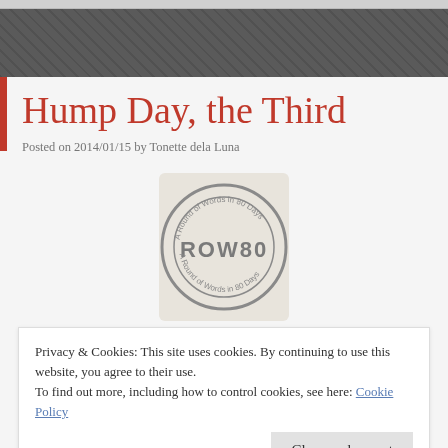Hump Day, the Third
Posted on 2014/01/15 by Tonette dela Luna
[Figure (logo): ROW80 stamp logo — A Round of Words in 80 Days circular stamp graphic]
Privacy & Cookies: This site uses cookies. By continuing to use this website, you agree to their use.
To find out more, including how to control cookies, see here: Cookie Policy
Close and accept
Tooooo fast.